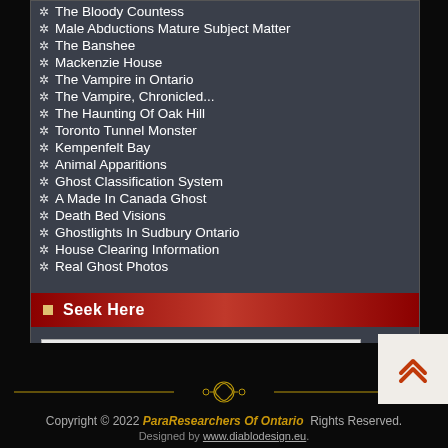The Bloody Countess
Male Abductions Mature Subject Matter
The Banshee
Mackenzie House
The Vampire in Ontario
The Vampire, Chronicled...
The Haunting Of Oak Hill
Toronto Tunnel Monster
Kempenfelt Bay
Animal Apparitions
Ghost Classification System
A Made In Canada Ghost
Death Bed Visions
Ghostlights In Sudbury Ontario
House Clearing Information
Real Ghost Photos
Seek Here
Copyright © 2022 ParaResearchers Of Ontario Rights Reserved. Designed by www.diablodesign.eu.